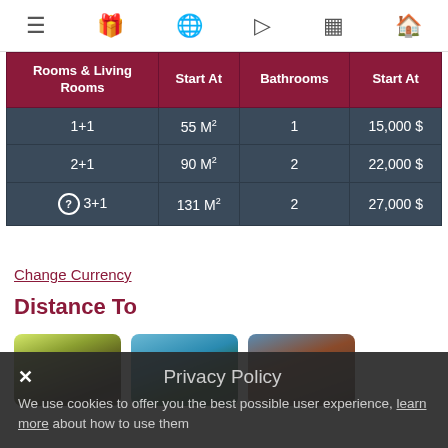Navigation bar with menu, gift, globe, play, grid, and home icons
| Rooms & Living Rooms | Start At | Bathrooms | Start At |
| --- | --- | --- | --- |
| 1+1 | 55 M² | 1 | 15,000 $ |
| 2+1 | 90 M² | 2 | 22,000 $ |
| 3+1 | 131 M² | 2 | 27,000 $ |
Change Currency
Distance To
[Figure (photo): Three thumbnail images showing outdoor scenes]
Privacy Policy — We use cookies to offer you the best possible user experience, learn more about how to use them